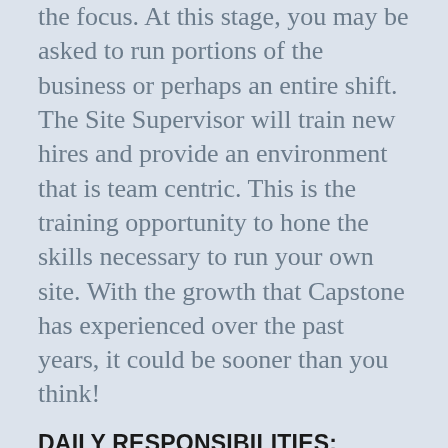the focus. At this stage, you may be asked to run portions of the business or perhaps an entire shift. The Site Supervisor will train new hires and provide an environment that is team centric. This is the training opportunity to hone the skills necessary to run your own site. With the growth that Capstone has experienced over the past years, it could be sooner than you think!
DAILY RESPONSIBILITIES:
Negotiation of rates with common carrier representatives
Running site with safety and efficiency as priorities
Writing and balancing daily bank